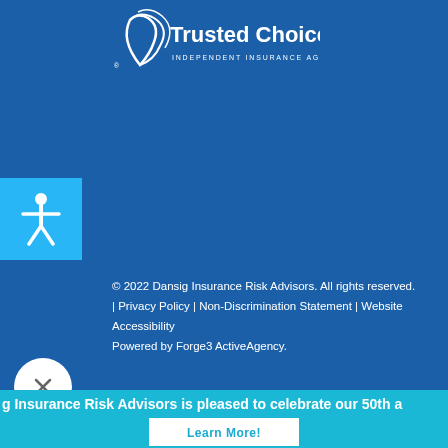[Figure (logo): Trusted Choice Independent Insurance Agents logo — white bird/flame graphic with 'Trusted Choice' text and 'INDEPENDENT INSURANCE AGENTS' subtitle on blue background]
[Figure (infographic): Accessibility icon button — white human figure with arms outstretched on cyan/light blue square background]
© 2022 Dansig Insurance Risk Advisors. All rights reserved.
| Privacy Policy | Non-Discrimination Statement | Website Accessibility
Powered by Forge3 ActiveAgency.
[Figure (infographic): Close button — circular white button with X symbol]
g Insurance Risk Advisors is pleased to celebrate our 50th a
Learn More!